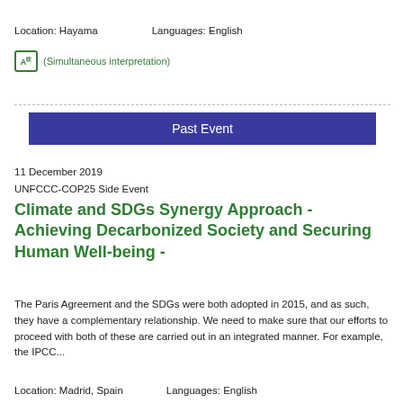Location: Hayama    Languages: English
(Simultaneous interpretation)
Past Event
11 December 2019
UNFCCC-COP25 Side Event
Climate and SDGs Synergy Approach - Achieving Decarbonized Society and Securing Human Well-being -
The Paris Agreement and the SDGs were both adopted in 2015, and as such, they have a complementary relationship. We need to make sure that our efforts to proceed with both of these are carried out in an integrated manner. For example, the IPCC...
Location: Madrid, Spain    Languages: English